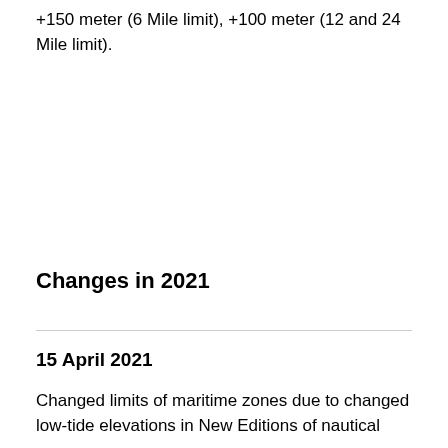+150 meter (6 Mile limit), +100 meter (12 and 24 Mile limit).
Changes in 2021
15 April 2021
Changed limits of maritime zones due to changed low-tide elevations in New Editions of nautical